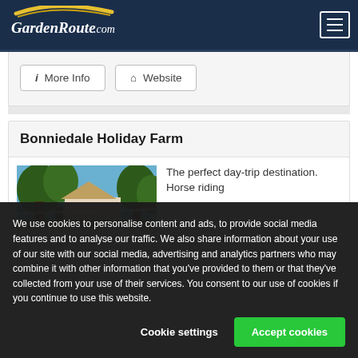GardenRoute.com
More Info
Website
Bonniedale Holiday Farm
[Figure (photo): Outdoor photo of Bonniedale Holiday Farm showing trees and blue sky]
The perfect day-trip destination. Horse riding
We use cookies to personalise content and ads, to provide social media features and to analyse our traffic. We also share information about your use of our site with our social media, advertising and analytics partners who may combine it with other information that you've provided to them or that they've collected from your use of their services. You consent to our use of cookies if you continue to use this website.
Cookie settings
Accept cookies